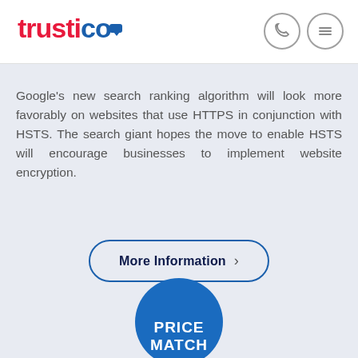[Figure (logo): Trustico logo in red and blue with a blue keypad/lock icon]
[Figure (other): Phone icon and hamburger menu icon in circular outlines in the header]
Google’s new search ranking algorithm will look more favorably on websites that use HTTPS in conjunction with HSTS. The search giant hopes the move to enable HSTS will encourage businesses to implement website encryption.
[Figure (other): More Information button with right chevron, rounded border in blue]
[Figure (other): Price Match badge/seal partially visible at bottom, dark blue and blue circular badge]